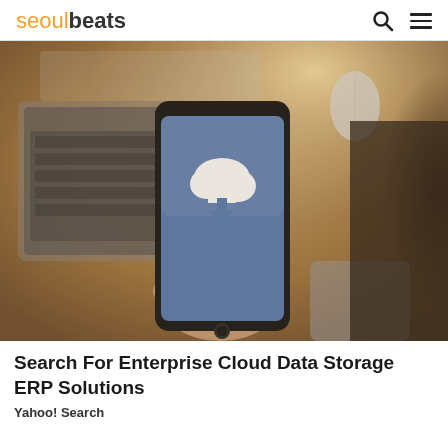seoulbeats
[Figure (photo): Person holding a smartphone displaying a cloud download icon, with a laptop and desk in the background, warm lighting]
Search For Enterprise Cloud Data Storage ERP Solutions
Yahoo! Search